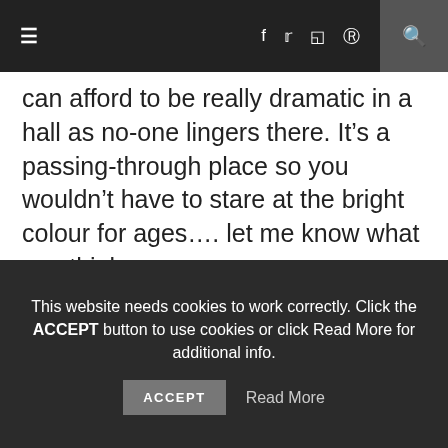≡  f  🐦  📷  𝗽  🔍
can afford to be really dramatic in a hall as no-one lingers there. It's a passing-through place so you wouldn't have to stare at the bright colour for ages.... let me know what you think.
This website needs cookies to work correctly. Click the ACCEPT button to use cookies or click Read More for additional info.